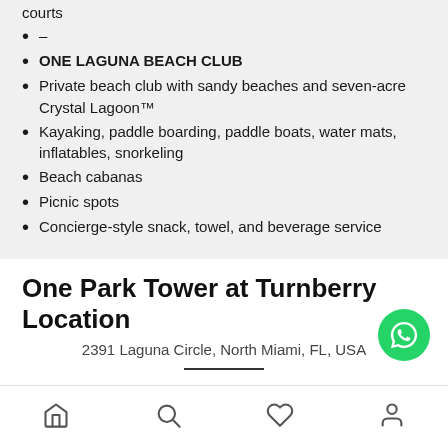courts
–
ONE LAGUNA BEACH CLUB
Private beach club with sandy beaches and seven-acre Crystal Lagoon™
Kayaking, paddle boarding, paddle boats, water mats, inflatables, snorkeling
Beach cabanas
Picnic spots
Concierge-style snack, towel, and beverage service
One Park Tower at Turnberry Location
2391 Laguna Circle, North Miami, FL, USA